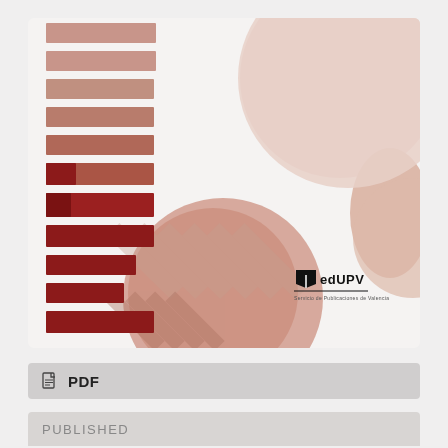[Figure (illustration): Book/publication cover with abstract geometric shapes: horizontal bars in salmon and dark red on the left, large overlapping circles in soft rose and salmon tones, diagonal stripe decorations, and the edUPV (Publicaciones de Valencia) logo in the bottom right corner on a light grey background.]
PDF
PUBLISHED